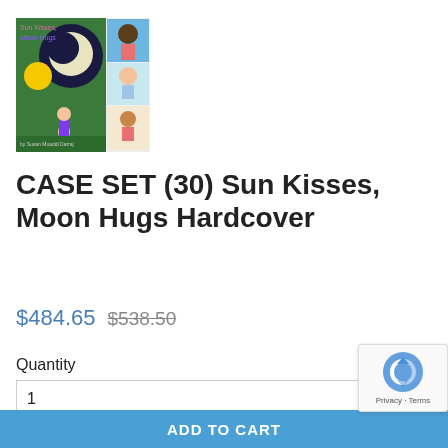[Figure (photo): Book cover for 'Sun Kisses, Moon Hugs' showing a children's book with illustrated characters on a collage-style cover including a moon, sun, and diverse children]
CASE SET (30) Sun Kisses, Moon Hugs Hardcover
$484.65 $538.50
Quantity
1
ADD TO CART